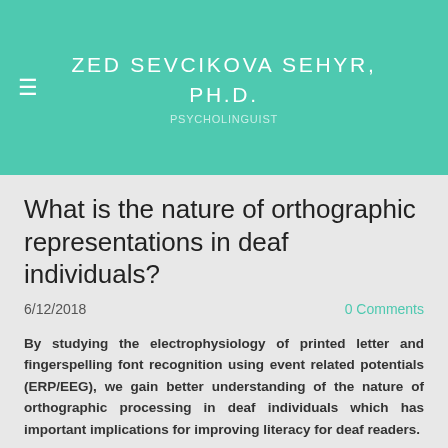ZED SEVCIKOVA SEHYR, PH.D.
What is the nature of orthographic representations in deaf individuals?
6/12/2018
0 Comments
By studying the electrophysiology of printed letter and fingerspelling font recognition using event related potentials (ERP/EEG), we gain better understanding of the nature of orthographic processing in deaf individuals which has important implications for improving literacy for deaf readers.
Letter recognition plays an important role in reading and follows different phases of processing, from early visual feature processing through to the processing of abstract letter representations. In masked priming ERP studies, related letter